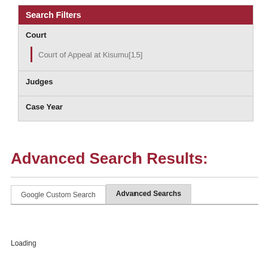Search Filters
Court
Court of Appeal at Kisumu[15]
Judges
Case Year
Advanced Search Results:
Google Custom Search
Advanced Searchs
Loading